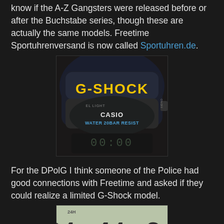know if the A-Z Gangsters were released before or after the Buchstabe series, though these are actually the same models. Freetime Sportuhrenversand is now called Sportuhren.de.
[Figure (photo): Close-up photo of a black Casio G-Shock watch face showing G-SHOCK text in yellow on the bezel and CASIO WATER 20BAR RESIST text on the watch face]
For the DPolG I think someone of the Police had good connections with Freetime and asked if they could realize a limited G-Shock model.
[Figure (photo): Close-up photo of a Casio watch digital display showing time 21:41:21 with FOX FIRE text and blue stripes at the bottom]